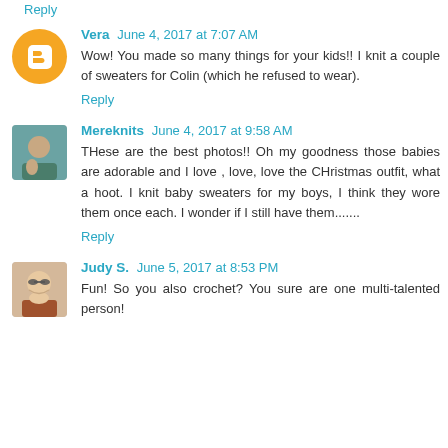Reply
Vera  June 4, 2017 at 7:07 AM
Wow! You made so many things for your kids!! I knit a couple of sweaters for Colin (which he refused to wear).
Reply
Mereknits  June 4, 2017 at 9:58 AM
THese are the best photos!! Oh my goodness those babies are adorable and I love , love, love the CHristmas outfit, what a hoot. I knit baby sweaters for my boys, I think they wore them once each. I wonder if I still have them.......
Reply
Judy S.  June 5, 2017 at 8:53 PM
Fun! So you also crochet? You sure are one multi-talented person!